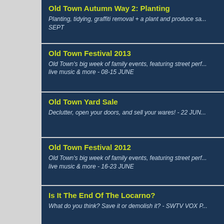Old Town Autumn Way 2: Planting — Planting, tidying, graffiti removal + a plant and produce sale - SEPT
Old Town Festival 2013 — Old Town's big week of family events, featuring street performances, live music & more - 08-15 JUNE
Old Town Yard Sale — Declutter, open your doors, and sell your wares! - 22 JUNE
Old Town Festival 2012 — Old Town's big week of family events, featuring street performances, live music & more - 16-23 JUNE
Is It The End Of The Locarno? — What do you think? Save it or demolish it? - SWTV VOX POP
Old Town Christmas Lights — Di Canio lights up Wood Street - SEE GALLERY...